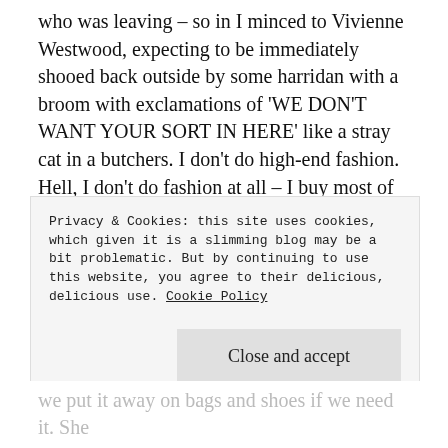who was leaving – so in I minced to Vivienne Westwood, expecting to be immediately shooed back outside by some harridan with a broom with exclamations of 'WE DON'T WANT YOUR SORT IN HERE' like a stray cat in a butchers. I don't do high-end fashion. Hell, I don't do fashion at all – I buy most of my clothes from Tesco because I couldn't care less what I look like as long as I'm clean and warm. Now the interesting thing was that my preconceptions about the designer shop were entirely wrong – the assistant behind the counter could not have been more friendly,
Privacy & Cookies: this site uses cookies, which given it is a slimming blog may be a bit problematic. But by continuing to use this website, you agree to their delicious, delicious use. Cookie Policy
Close and accept
we put it away on bags and shoes if we need it. She